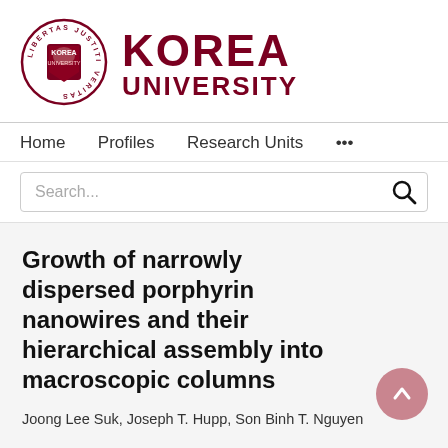[Figure (logo): Korea University logo with circular seal showing lion and text 'LIBERTAS JUSTITIA VERITAS' and 'KOREA' / 'UNIVERSITY' wordmark in dark red]
Home   Profiles   Research Units   ...
Search...
Growth of narrowly dispersed porphyrin nanowires and their hierarchical assembly into macroscopic columns
Joong Lee Suk, Joseph T. Hupp, Son Binh T. Nguyen